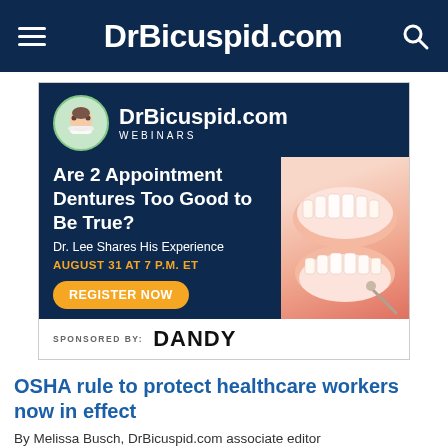DrBicuspid.com
[Figure (infographic): DrBicuspid.com Webinars advertisement banner. Navy blue background with logo circle (doctor with mask), headline 'Are 2 Appointment Dentures Too Good to Be True?', subheading 'Dr. Lee Shares His Experience', date 'August 31 at 7 P.M. ET', orange 'Register Now' button, photo of dentures on right side, white sponsor bar at bottom reading 'SPONSORED BY: DANDY']
OSHA rule to protect healthcare workers now in effect
By Melissa Busch, DrBicuspid.com associate editor